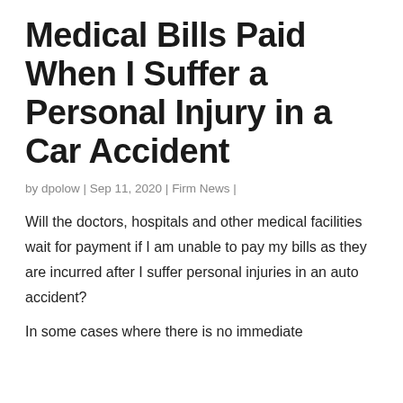Medical Bills Paid When I Suffer a Personal Injury in a Car Accident
by dpolow | Sep 11, 2020 | Firm News |
Will the doctors, hospitals and other medical facilities wait for payment if I am unable to pay my bills as they are incurred after I suffer personal injuries in an auto accident?
In some cases where there is no immediate